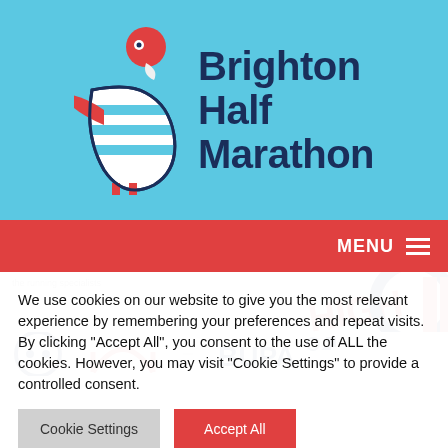[Figure (logo): Brighton Half Marathon logo: seagull/bird icon on left with red circle and blue/white stripes, bold dark navy text 'Brighton Half Marathon' on right, on light blue background]
MENU
the running specialists
[Figure (logo): Partial sponsor logos including HIGH5 and BUPA logos visible in the background]
We use cookies on our website to give you the most relevant experience by remembering your preferences and repeat visits. By clicking "Accept All", you consent to the use of ALL the cookies. However, you may visit "Cookie Settings" to provide a controlled consent.
Cookie Settings
Accept All